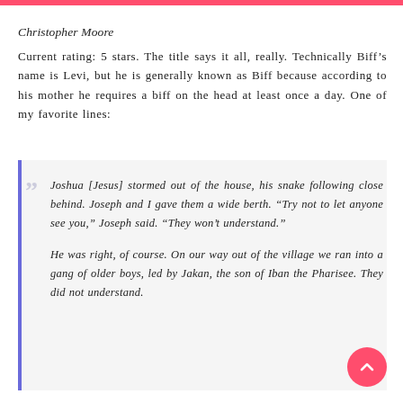Christopher Moore
Current rating: 5 stars. The title says it all, really. Technically Biff’s name is Levi, but he is generally known as Biff because according to his mother he requires a biff on the head at least once a day. One of my favorite lines:
“Joshua [Jesus] stormed out of the house, his snake following close behind. Joseph and I gave them a wide berth. “Try not to let anyone see you,” Joseph said. “They won’t understand.”

He was right, of course. On our way out of the village we ran into a gang of older boys, led by Jakan, the son of Iban the Pharisee. They did not understand.